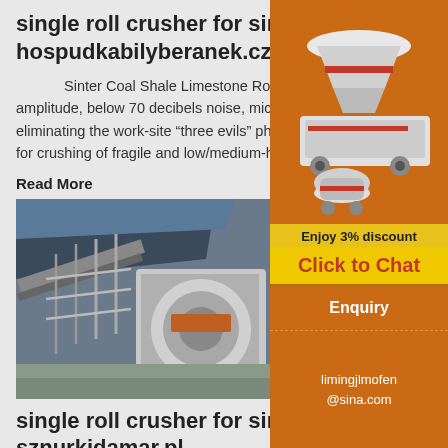single roll crusher for sinter plant - hospudkabilyberanek.cz
Sinter Coal Shale Limestone Roller Crusher 2020 New Type. The coal crusher features less than 0.03mm amplitude, below 70 decibels noise, micro positive pressure, and all enclosed structure forms, completely eliminating the work-site “three evils” phenom prevent workers silicosis, :::Brief introduction S crusher is applied for crushing of fragile and low/medium-hardness ...
Read More
[Figure (photo): Industrial single roll crusher machine at a plant, showing machinery with conveyor and mechanical components]
single roll crusher for sinter plant - sznurkidamar.pl
[Figure (photo): Orange sidebar advertisement showing three industrial crushing machines on orange background, with 'Enjoy 3% discount', 'Click to Chat', 'Enquiry', and 'limingjlmofen@sina.com' text]